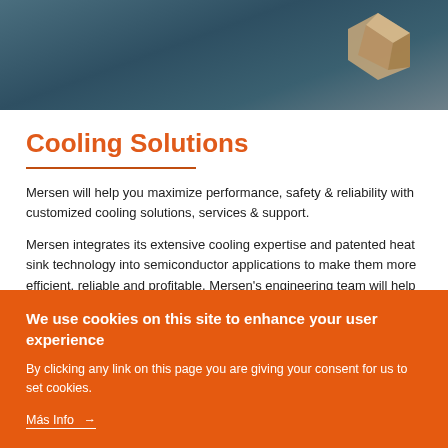[Figure (photo): Dark teal/blue-grey hero banner background with a partial view of what appears to be a metallic heat sink component in the top right corner.]
Cooling Solutions
Mersen will help you maximize performance, safety & reliability with customized cooling solutions, services & support.
Mersen integrates its extensive cooling expertise and patented heat sink technology into semiconductor applications to make them more efficient, reliable and profitable. Mersen's engineering team will help you find
We use cookies on this site to enhance your user experience
By clicking any link on this page you are giving your consent for us to set cookies.
Más Info →
Accept all cookies
Revocar